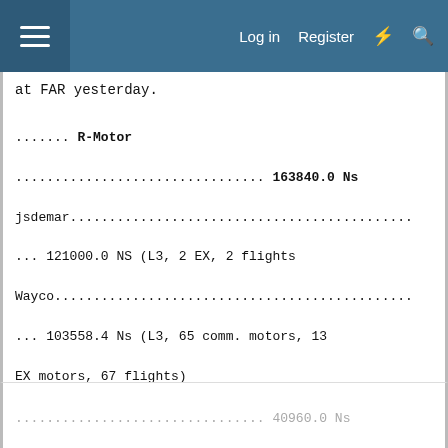Log in  Register
at FAR yesterday.
....... R-Motor
................................ 163840.0 Ns
jsdemar............................................
... 121000.0 NS (L3, 2 EX, 2 flights
Wayco..............................................
... 103558.4 Ns (L3, 65 comm. motors, 13 EX motors, 67 flights)
Hardline...........................................
.... 89034.4 Ns (L3, 26 comm. motors, 17 EX motors, 43 flights)
....... Q-Motor
................................ 81920.0 Ns
....... P-Motor
................................ 40960.0 Ns
Firemanup..........................................